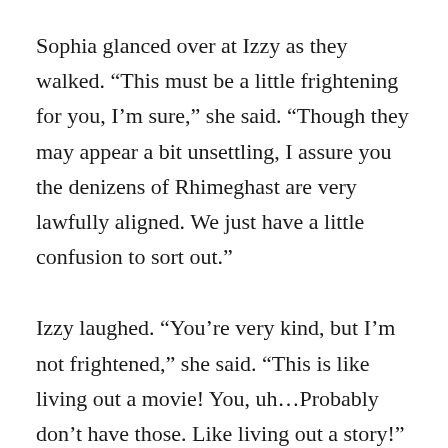Sophia glanced over at Izzy as they walked. “This must be a little frightening for you, I’m sure,” she said. “Though they may appear a bit unsettling, I assure you the denizens of Rhimeghast are very lawfully aligned. We just have a little confusion to sort out.”
Izzy laughed. “You’re very kind, but I’m not frightened,” she said. “This is like living out a movie! You, uh…Probably don’t have those. Like living out a story!”
Sophia smiled. “I suppose you’re right,” she replied